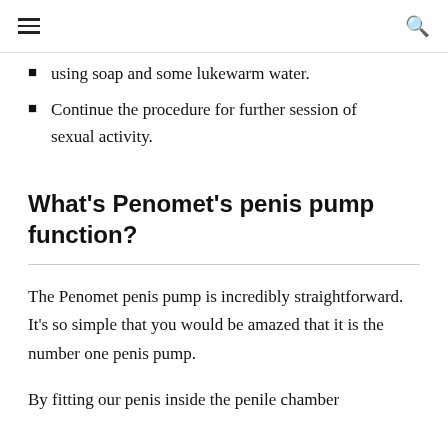≡  🔍
using soap and some lukewarm water.
Continue the procedure for further session of sexual activity.
What's Penomet's penis pump function?
The Penomet penis pump is incredibly straightforward. It's so simple that you would be amazed that it is the number one penis pump.
By fitting our penis inside the penile chamber